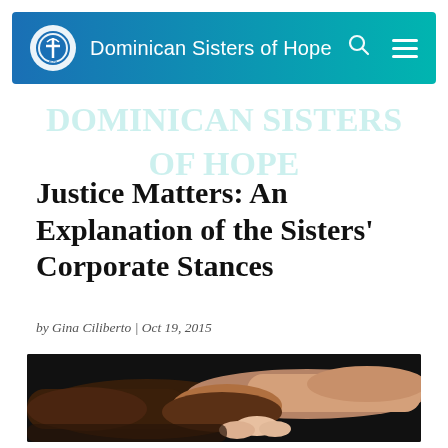Dominican Sisters of Hope
Justice Matters: An Explanation of the Sisters' Corporate Stances
by Gina Ciliberto | Oct 19, 2015
[Figure (photo): Two hands of different skin tones clasped together against a dark background]